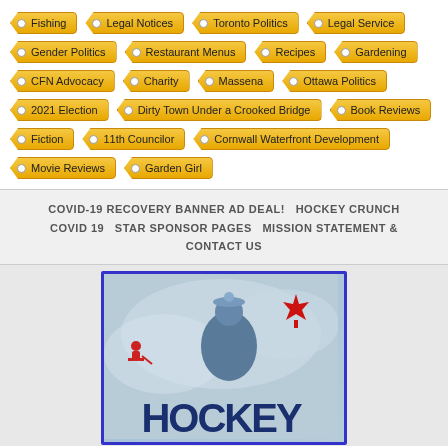Fishing
Legal Notices
Toronto Politics
Legal Service
Gender Politics
Restaurant Menus
Recipes
Gardening
CFN Advocacy
Charity
Massena
Ottawa Politics
2021 Election
Dirty Town Under a Crooked Bridge
Book Reviews
Fiction
11th Councilor
Cornwall Waterfront Development
Movie Reviews
Garden Girl
COVID-19 RECOVERY BANNER AD DEAL!   HOCKEY CRUNCH   COVID 19   STAR SPONSOR PAGES   MISSION STATEMENT & CONTACT US
[Figure (illustration): Hockey Crunch banner image showing a hockey player silhouette against an icy blue background with a red Canadian maple leaf, and the word HOCKEY in large dark blue bold text at the bottom. A small red hockey player logo is also visible on the left side.]